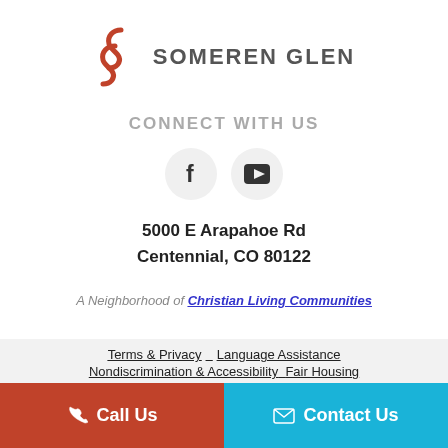[Figure (logo): Someren Glen logo with red stylized double-S icon and gray uppercase text SOMEREN GLEN]
CONNECT WITH US
[Figure (infographic): Two circular social media icons: Facebook (f) and YouTube (play button triangle), both on light gray circles]
5000 E Arapahoe Rd
Centennial, CO 80122
A Neighborhood of Christian Living Communities
Terms & Privacy   Language Assistance
Nondiscrimination & Accessibility   Fair Housing
Call Us
Contact Us